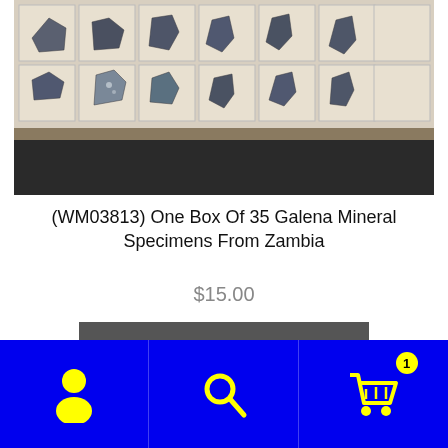[Figure (photo): A box containing 35 small galena mineral specimens arranged in a grid of individual compartments, showing metallic grey rocks against white dividers.]
(WM03813) One Box Of 35 Galena Mineral Specimens From Zambia
$15.00
Add to cart
[Figure (infographic): Blue navigation footer bar with three icon sections: user/account icon (left), search icon (middle), shopping cart icon with badge showing '1' (right)]